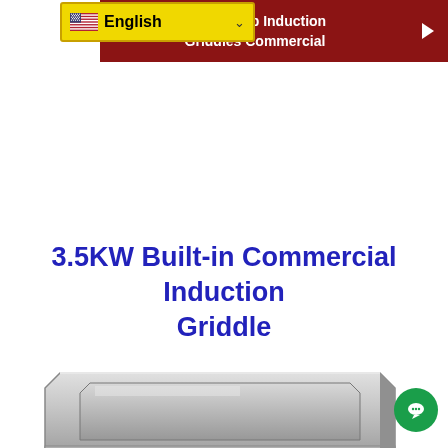[Figure (screenshot): Language selector dropdown showing US flag and 'English' label with yellow background and dropdown arrow]
Countertop Induction Griddles Commercial
3.5KW Built-in Commercial Induction Griddle
[Figure (photo): Stainless steel built-in commercial induction griddle, viewed from above at an angle, showing the flat cooking surface recessed into a metal frame]